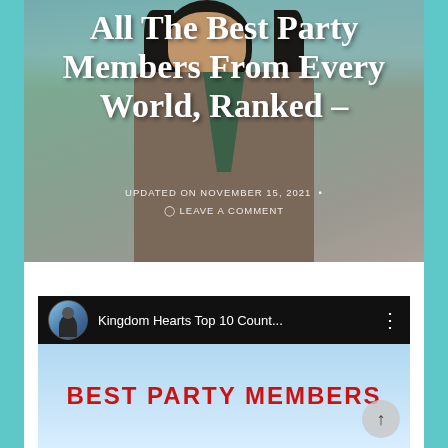[Figure (screenshot): Blog article hero image showing a 3D animated character (woman in brown and green jacket with dark hair) against a teal/grey background. Overlaid with article title text and metadata.]
All The Best Party Members From Every World, Ranked –
UPDATED ON NOVEMBER 15, 2021 • ◯ LEAVE A COMMENT
[Figure (screenshot): YouTube video embed thumbnail showing channel avatar, title 'Kingdom Hearts Top 10 Count...' with vertical dots menu, and video thumbnail with red bold text 'BEST PARTY MEMBERS' over a light blue background.]